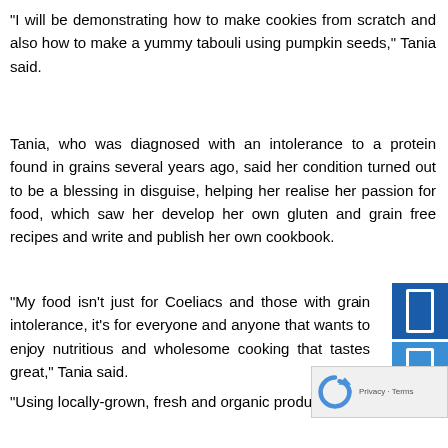“I will be demonstrating how to make cookies from scratch and also how to make a yummy tabouli using pumpkin seeds,” Tania said.
Tania, who was diagnosed with an intolerance to a protein found in grains several years ago, said her condition turned out to be a blessing in disguise, helping her realise her passion for food, which saw her develop her own gluten and grain free recipes and write and publish her own cookbook.
“My food isn’t just for Coeliacs and those with grain intolerance, it’s for everyone and anyone that wants to enjoy nutritious and wholesome cooking that tastes great,” Tania said.
“Using locally-grown, fresh and organic produce is